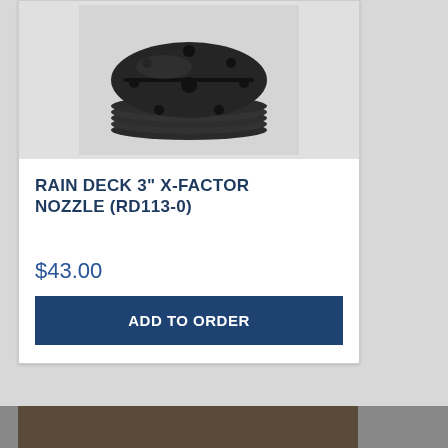[Figure (photo): Dark metallic circular nozzle disc with multiple holes viewed from above, shown against a light gray background. The nozzle has a central hole and several surrounding holes arranged in a pattern, with ridged/layered edges visible on the side.]
RAIN DECK 3" X-FACTOR NOZZLE (RD113-0)
$43.00
ADD TO ORDER